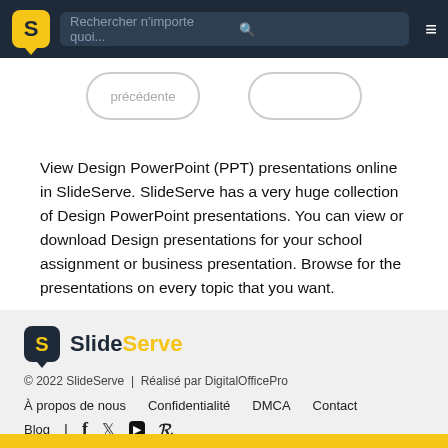Rechercher n'importe quoi...
précédente
View Design PowerPoint (PPT) presentations online in SlideServe. SlideServe has a very huge collection of Design PowerPoint presentations. You can view or download Design presentations for your school assignment or business presentation. Browse for the presentations on every topic that you want.
SlideServe — © 2022 SlideServe | Réalisé par DigitalOfficePro — À propos de nous  Confidentialité  DMCA  Contact  Blog